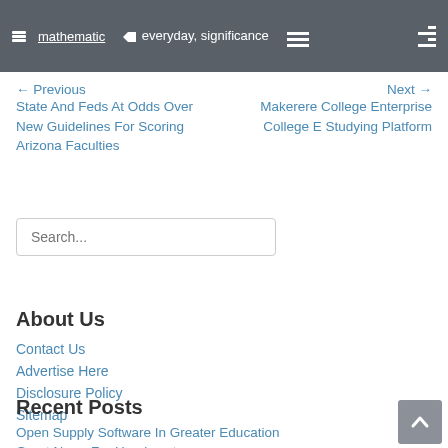mathematic | everyday, significance
← Previous
State And Feds At Odds Over New Guidelines For Scoring Arizona Faculties
Next →
Makerere College Enterprise College E Studying Platform
Search...
About Us
Contact Us
Advertise Here
Disclosure Policy
Sitemap
Recent Posts
Open Supply Software In Greater Education
Great News For Headmasters